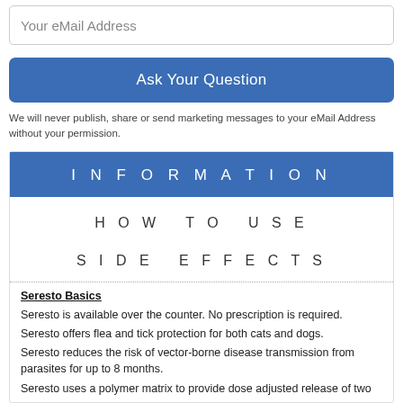Your eMail Address
Ask Your Question
We will never publish, share or send marketing messages to your eMail Address without your permission.
INFORMATION
HOW TO USE
SIDE EFFECTS
Seresto Basics
Seresto is available over the counter. No prescription is required.
Seresto offers flea and tick protection for both cats and dogs.
Seresto reduces the risk of vector-borne disease transmission from parasites for up to 8 months.
Seresto uses a polymer matrix to provide dose adjusted release of two